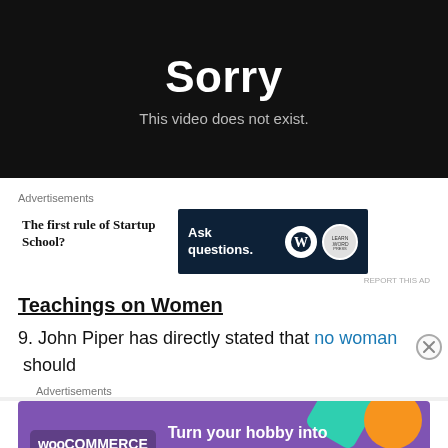[Figure (screenshot): Black video player error screen showing 'Sorry' in large white bold text and 'This video does not exist.' in smaller gray text below]
Advertisements
[Figure (screenshot): Two advertisements: left shows text 'The first rule of Startup School?' in serif bold; right is a dark navy WordPress ad saying 'Ask questions.' with WordPress and Learn.WordPress logos]
REPORT THIS AD
Teachings on Women
9. John Piper has directly stated that no woman should
Advertisements
[Figure (screenshot): WooCommerce advertisement: purple background with WooCommerce logo on left and text 'Turn your hobby into a business in 8 steps' on right, with colorful geometric decorations]
REPORT THIS AD